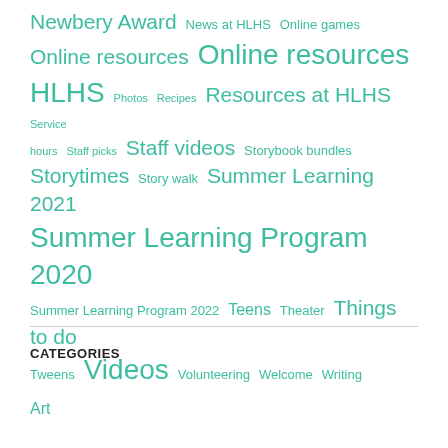[Figure (infographic): Tag cloud of library/school topics in teal/green color, varying font sizes indicating frequency/importance. Tags include: Newbery Award, News at HLHS, Online games, Online resources (×2), HLHS, Photos, Recipes, Resources at HLHS, Service hours, Staff picks, Staff videos, Storybook bundles, Storytimes, Story walk, Summer Learning 2021, Summer Learning Program 2020, Summer Learning Program 2022, Teens, Theater, Things to do, Tweens, Videos, Volunteering, Welcome, Writing]
CATEGORIES
Art